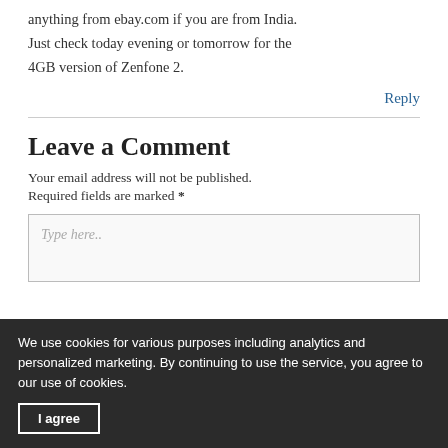anything from ebay.com if you are from India. Just check today evening or tomorrow for the 4GB version of Zenfone 2.
Reply
Leave a Comment
Your email address will not be published. Required fields are marked *
Type here..
We use cookies for various purposes including analytics and personalized marketing. By continuing to use the service, you agree to our use of cookies.
I agree